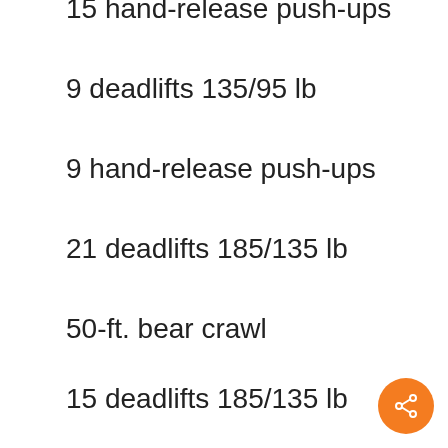15 hand-release push-ups
9 deadlifts 135/95 lb
9 hand-release push-ups
21 deadlifts 185/135 lb
50-ft. bear crawl
15 deadlifts 185/135 lb
50-ft. bear crawl